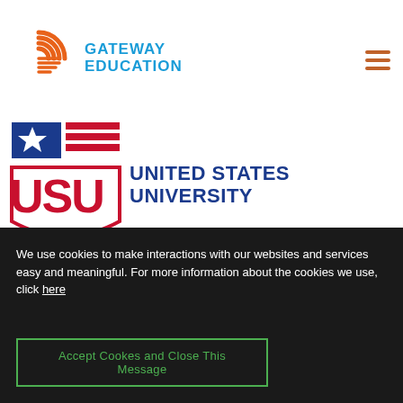[Figure (logo): Gateway Education logo with orange G spiral and blue text reading GATEWAY EDUCATION]
[Figure (logo): United States University logo with red shield/USU letters and flag icon, blue text reading UNITED STATES UNIVERSITY]
We use cookies to make interactions with our websites and services easy and meaningful. For more information about the cookies we use, click here
Accept Cookes and Close This Message